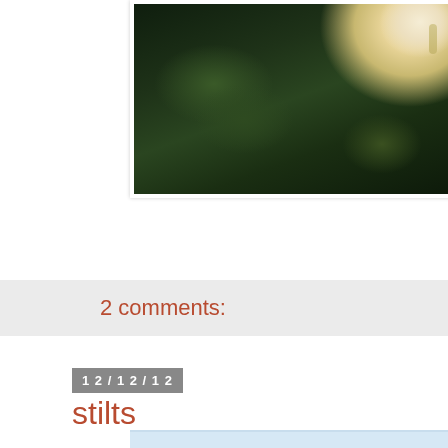[Figure (photo): Close-up photo of a white/cream flower bloom against dark green foliage background]
2 comments:
12/12/12
stilts
[Figure (photo): Partial view of another photo with light blue tones at bottom of page]